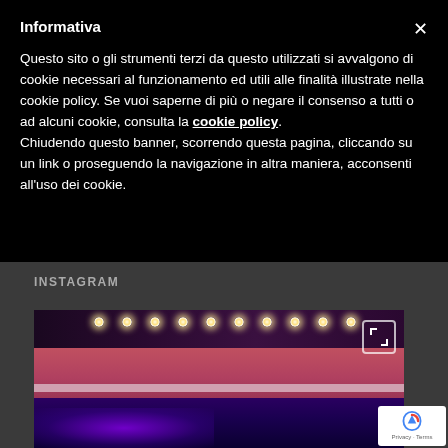Informativa
Questo sito o gli strumenti terzi da questo utilizzati si avvalgono di cookie necessari al funzionamento ed utili alle finalità illustrate nella cookie policy. Se vuoi saperne di più o negare il consenso a tutti o ad alcuni cookie, consulta la cookie policy.
Chiudendo questo banner, scorrendo questa pagina, cliccando su un link o proseguendo la navigazione in altra maniera, acconsenti all'uso dei cookie.
INSTAGRAM
[Figure (photo): Interior of a venue with ceiling lights and purple/pink ambient lighting on walls and floor]